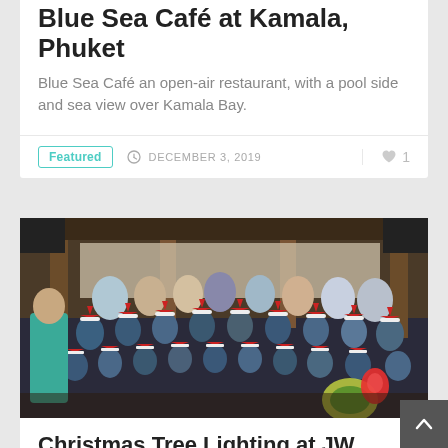Blue Sea Café at Kamala, Phuket
Blue Sea Café an open-air restaurant, with a pool side and sea view over Kamala Bay.
Featured   DECEMBER 3, 2019   ♥ 1
[Figure (photo): Group photo of children and adults wearing Santa hats and school uniforms inside a restaurant or event venue decorated with Christmas elements.]
Christmas Tree Lighting at JW Marriott Phuket Resort & Spa, Phuket